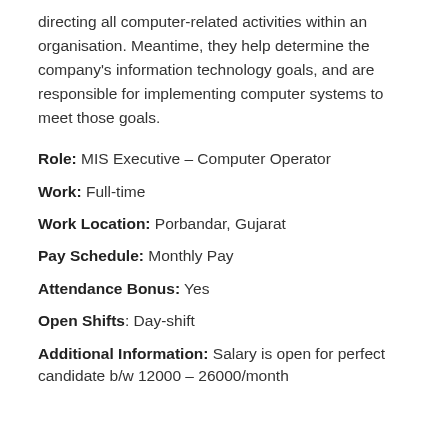directing all computer-related activities within an organisation. Meantime, they help determine the company's information technology goals, and are responsible for implementing computer systems to meet those goals.
Role: MIS Executive – Computer Operator
Work: Full-time
Work Location: Porbandar, Gujarat
Pay Schedule: Monthly Pay
Attendance Bonus: Yes
Open Shifts: Day-shift
Additional Information: Salary is open for perfect candidate b/w 12000 – 26000/month